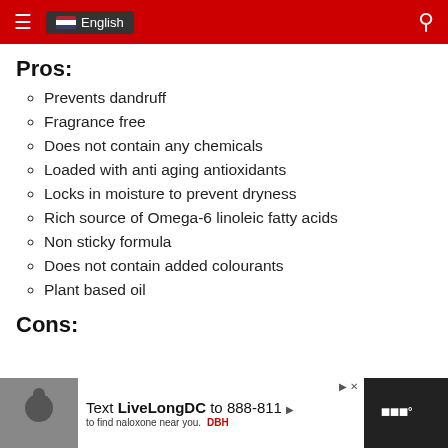English
Pros:
Prevents dandruff
Fragrance free
Does not contain any chemicals
Loaded with anti aging antioxidants
Locks in moisture to prevent dryness
Rich source of Omega-6 linoleic fatty acids
Non sticky formula
Does not contain added colourants
Plant based oil
Cons:
[Figure (infographic): Advertisement banner: Text LiveLongDC to 888-811 to find naloxone near you. DBH logo.]